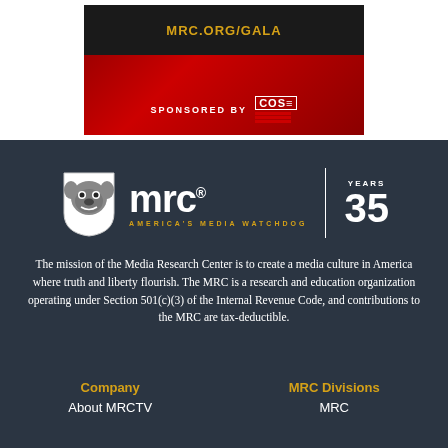[Figure (illustration): MRC Gala advertisement banner with red and black background, showing MRC.ORG/GALA URL and SPONSORED BY COS (Convention of States) logo]
[Figure (logo): MRC (Media Research Center) logo with bulldog shield, text 'mrc', tagline 'AMERICA'S MEDIA WATCHDOG', and '35 YEARS' anniversary mark]
The mission of the Media Research Center is to create a media culture in America where truth and liberty flourish. The MRC is a research and education organization operating under Section 501(c)(3) of the Internal Revenue Code, and contributions to the MRC are tax-deductible.
Company
MRC Divisions
About MRCTV
MRC